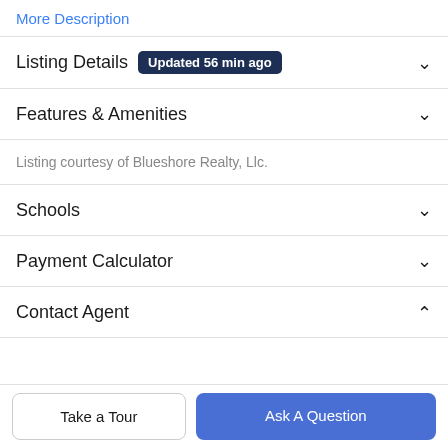More Description
Listing Details  Updated 56 min ago
Features & Amenities
Listing courtesy of Blueshore Realty, Llc.
Schools
Payment Calculator
Contact Agent
Take a Tour
Ask A Question